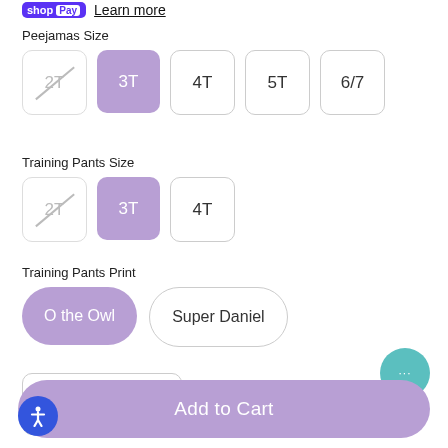[Figure (logo): Shop Pay badge with purple background and 'Learn more' underlined link]
Peejamas Size
[Figure (infographic): Size selector buttons: 2T (unavailable/strikethrough), 3T (selected/purple), 4T, 5T, 6/7]
Training Pants Size
[Figure (infographic): Size selector buttons: 2T (unavailable/strikethrough), 3T (selected/purple), 4T]
Training Pants Print
[Figure (infographic): Print selector buttons: O the Owl (selected/purple), Super Daniel]
[Figure (infographic): Quantity dropdown showing label 'Quantity' and value '1' with chevron]
[Figure (infographic): Add to Cart button — purple rounded pill shape]
[Figure (infographic): Teal chat bubble button with ellipsis icon]
[Figure (infographic): Blue accessibility button with person icon]